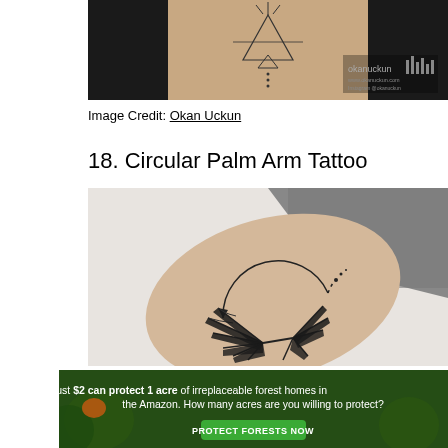[Figure (photo): Close-up photo of a geometric tattoo on a person's side/ribcage — shows a triangle with lines and dots, with okanuckun watermark in the bottom right corner]
Image Credit: Okan Uckun
18. Circular Palm Arm Tattoo
[Figure (photo): Photo of a circular palm tree tattoo on a person's arm/forearm, showing detailed black ink palm fronds inside a partial circle with dotted arc]
[Figure (photo): Advertisement banner — green forest background with text: 'Just $2 can protect 1 acre of irreplaceable forest homes in the Amazon. How many acres are you willing to protect?' with a green PROTECT FORESTS NOW button]